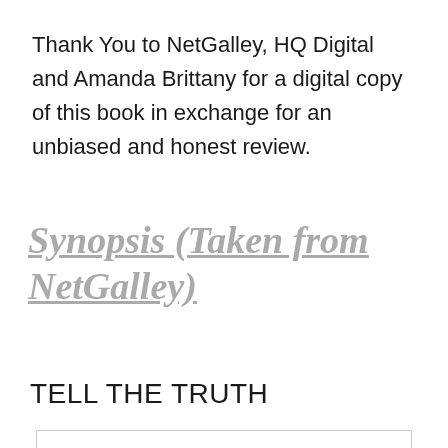Thank You to NetGalley, HQ Digital and Amanda Brittany for a digital copy of this book in exchange for an unbiased and honest review.
Synopsis (Taken from NetGalley)
TELL THE TRUTH
Privacy & Cookies: This site uses cookies. By continuing to use this website, you agree to their use.
To find out more, including how to control cookies, see here: Cookie Policy
Close and accept